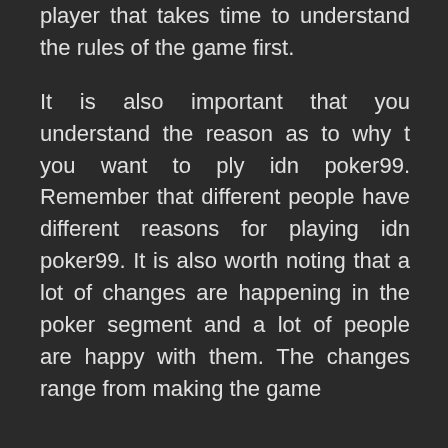player that takes time to understand the rules of the game first.
It is also important that you understand the reason as to why t you want to ply idn poker99. Remember that different people have different reasons for playing idn poker99. It is also worth noting that a lot of changes are happening in the poker segment and a lot of people are happy with them. The changes range from making the game...